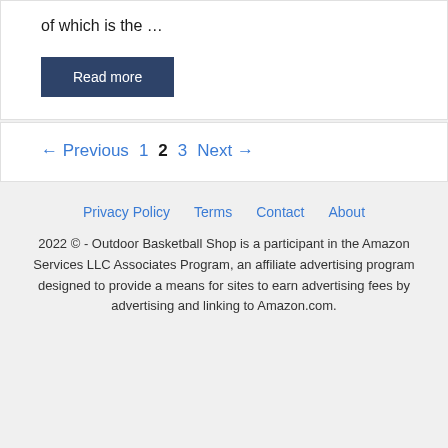of which is the …
Read more
← Previous 1 2 3 Next →
Privacy Policy   Terms   Contact   About
2022 © - Outdoor Basketball Shop is a participant in the Amazon Services LLC Associates Program, an affiliate advertising program designed to provide a means for sites to earn advertising fees by advertising and linking to Amazon.com.